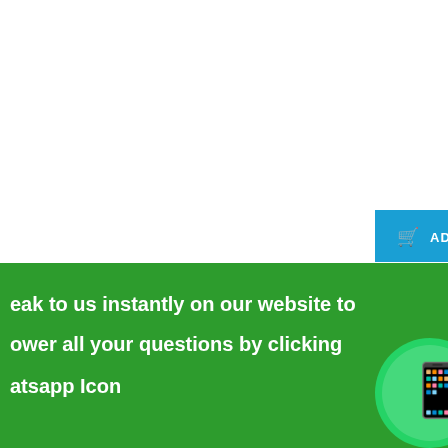[Figure (screenshot): Add to Cart button (blue) with shopping cart icon and text ADD TO CART]
[Figure (screenshot): Price label showing $365.70 above a dark filing cabinet product image]
[Figure (screenshot): Green WhatsApp promotional banner overlay with text and WhatsApp icon circle]
spe
ma
Thi
inc
ma
a
rece
ta
th
Be
St
S
A
Ka
SY
094

We
70.0